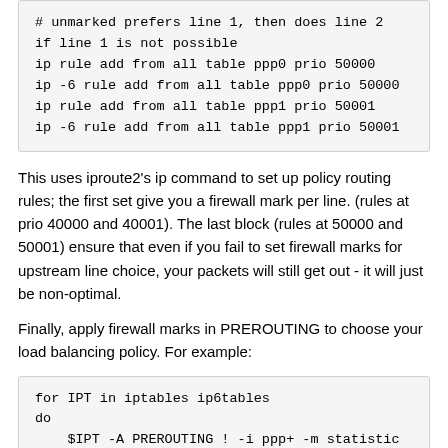# unmarked prefers line 1, then does line 2
if line 1 is not possible
ip rule add from all table ppp0 prio 50000
ip -6 rule add from all table ppp0 prio 50000
ip rule add from all table ppp1 prio 50001
ip -6 rule add from all table ppp1 prio 50001
This uses iproute2's ip command to set up policy routing rules; the first set give you a firewall mark per line. (rules at prio 40000 and 40001). The last block (rules at 50000 and 50001) ensure that even if you fail to set firewall marks for upstream line choice, your packets will still get out - it will just be non-optimal.
Finally, apply firewall marks in PREROUTING to choose your load balancing policy. For example:
for IPT in iptables ip6tables
do
    $IPT -A PREROUTING ! -i ppp+ -m statistic
--mode nth --every 2 --packet 0 -j MARK --set-mark 1
    $IPT -A PREROUTING ! -i ppp+ -m statistic